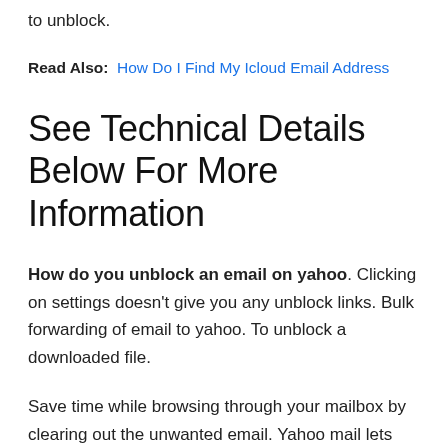to unblock.
Read Also:  How Do I Find My Icloud Email Address
See Technical Details Below For More Information
How do you unblock an email on yahoo. Clicking on settings doesn't give you any unblock links. Bulk forwarding of email to yahoo. To unblock a downloaded file.
Save time while browsing through your mailbox by clearing out the unwanted email. Yahoo mail lets you anonymously add up to 1000 email address to your blocked list, or remove them if you change your mind. 5:44